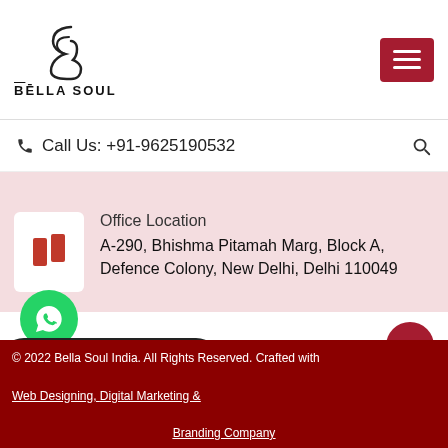[Figure (logo): Bella Soul logo with stylized B icon and text BELLA SOUL]
[Figure (illustration): Red hamburger menu button with three white lines]
Call Us: +91-9625190532
[Figure (illustration): Search icon]
Office Location
A-290, Bhishma Pitamah Marg, Block A, Defence Colony, New Delhi, Delhi 110049
CALL US TODAY
+91-9625190532
[Figure (illustration): Green WhatsApp circular button]
[Figure (illustration): Dark grey Send Enquiry button with red mail icon]
[Figure (illustration): Red scroll-up circular button with upward chevron]
© 2022 Bella Soul India. All Rights Reserved. Crafted with Web Designing, Digital Marketing & Branding Company